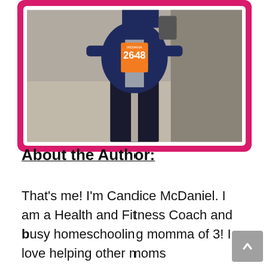[Figure (photo): A person wearing a navy jacket and dark leggings, with an orange race bib numbered 2648, standing outdoors on pavement. The photo is framed with a hot-pink border.]
About the Author:
That's me! I'm Candice McDaniel. I am a Health and Fitness Coach and busy homeschooling momma of 3! I love helping other moms